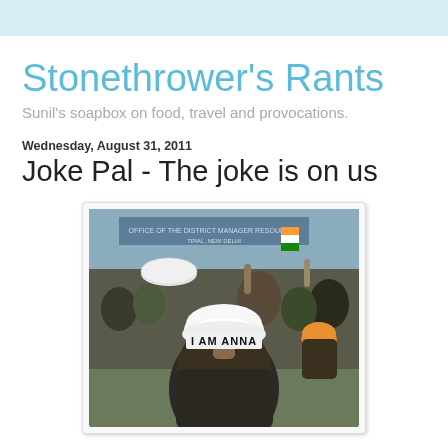Stonethrower's Rants
Sunil's soapbox on food, travel and provocations.
Wednesday, August 31, 2011
Joke Pal - The joke is on us
[Figure (photo): A crowd of protesters at a political rally in India. In the foreground, a person wearing a white Gandhi cap with the text 'I AM ANNA' printed on the back. In the background, people are raising hands and an Indian flag is visible.]